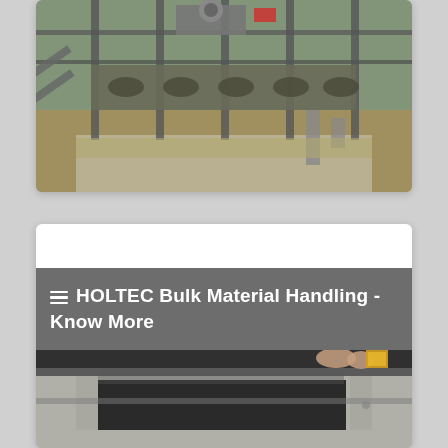[Figure (photo): Industrial bulk material handling equipment — overhead view of conveyor/screening machinery with metal framework, pipes, and processing components at a plant facility.]
HOLTEC Bulk Material Handling - Know More
[Figure (photo): Close-up view of a metal trough or chute used in bulk material handling, with industrial equipment visible in the background and a worker's hands visible at the top right.]